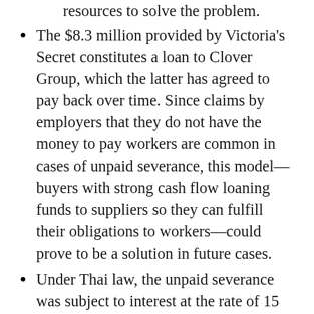resources to solve the problem.
The $8.3 million provided by Victoria's Secret constitutes a loan to Clover Group, which the latter has agreed to pay back over time. Since claims by employers that they do not have the money to pay workers are common in cases of unpaid severance, this model—buyers with strong cash flow loaning funds to suppliers so they can fulfill their obligations to workers—could prove to be a solution in future cases.
Under Thai law, the unpaid severance was subject to interest at the rate of 15 percent per year. The WRC worked to ensure that this interest component was included in the payments to workers. Despite resistance from Clover Group, the WRC succeeded. As a